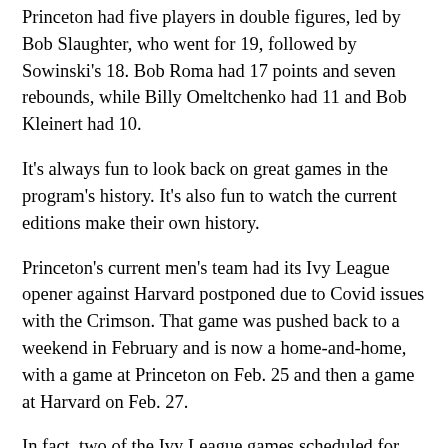Princeton had five players in double figures, led by Bob Slaughter, who went for 19, followed by Sowinski's 18. Bob Roma had 17 points and seven rebounds, while Billy Omeltchenko had 11 and Bob Kleinert had 10.
It's always fun to look back on great games in the program's history. It's also fun to watch the current editions make their own history.
Princeton's current men's team had its Ivy League opener against Harvard postponed due to Covid issues with the Crimson. That game was pushed back to a weekend in February and is now a home-and-home, with a game at Princeton on Feb. 25 and then a game at Harvard on Feb. 27.
In fact, two of the Ivy League games scheduled for last weekend were postponed, along with Yale-Columbia. There were two games that did get played, as Cornell defeated Dartmouth and Penn defeated Brown.
Princeton will open the league at home this weekend, with home games against Columbia Friday night (7) and Cornell